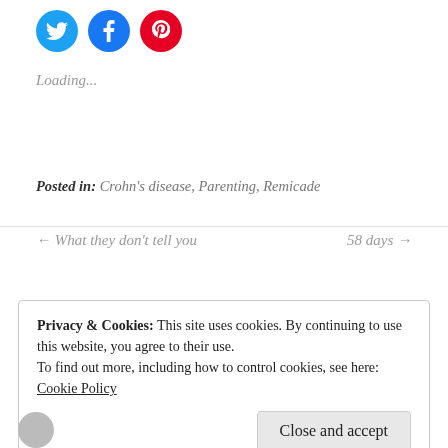[Figure (infographic): Three social media share icons: Twitter (cyan circle), Facebook (blue circle), Pinterest (red circle)]
Loading...
Posted in: Crohn's disease, Parenting, Remicade
← What they don't tell you      58 days →
Privacy & Cookies: This site uses cookies. By continuing to use this website, you agree to their use.
To find out more, including how to control cookies, see here:
Cookie Policy